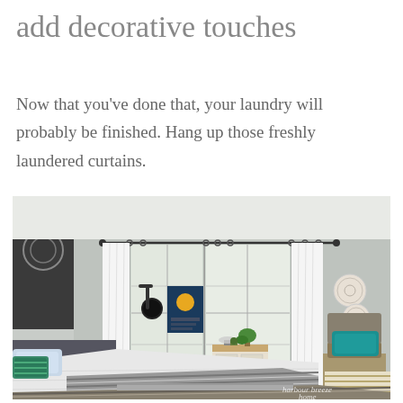add decorative touches
Now that you've done that, your laundry will probably be finished. Hang up those freshly laundered curtains.
[Figure (photo): A bright bedroom interior with white curtains hung on a black rod over two windows. A bed with white bedding and a striped gray runner is in the foreground. A nightstand with a lamp, a wall-mounted reading light, and decorative plates on the right wall are visible. A chair with a teal pillow sits in the corner. A 'harbour breeze home' watermark appears in the lower right.]